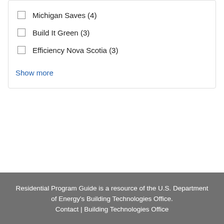Michigan Saves (4)
Build It Green (3)
Efficiency Nova Scotia (3)
Show more
Residential Program Guide is a resource of the U.S. Department of Energy's Building Technologies Office.
Contact | Building Technologies Office